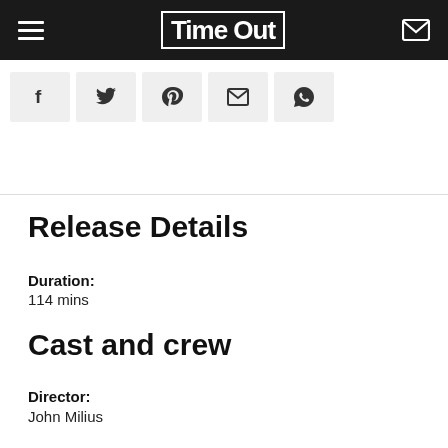Time Out
[Figure (other): Social share buttons: Facebook, Twitter, Pinterest, Email, WhatsApp]
Release Details
Duration:
114 mins
Cast and crew
Director:
John Milius